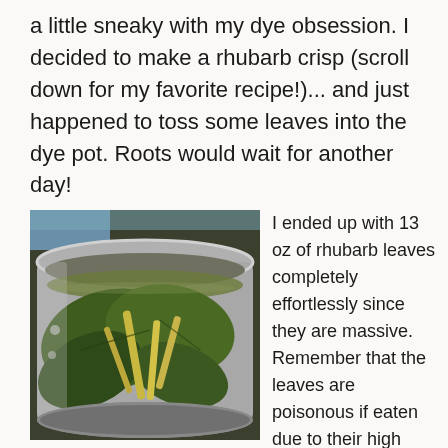a little sneaky with my dye obsession. I decided to make a rhubarb crisp (scroll down for my favorite recipe!)... and just happened to toss some leaves into the dye pot. Roots would wait for another day!
[Figure (photo): A metal pot filled with green rhubarb leaves and yellowish stalks submerged in liquid, sitting on a surface. The leaves appear wilted and dark green.]
I ended up with 13 oz of rhubarb leaves completely effortlessly since they are massive. Remember that the leaves are poisonous if eaten due to their high oxalic acid content (nephrotoxic to people, dogs, etc), so usually those guys